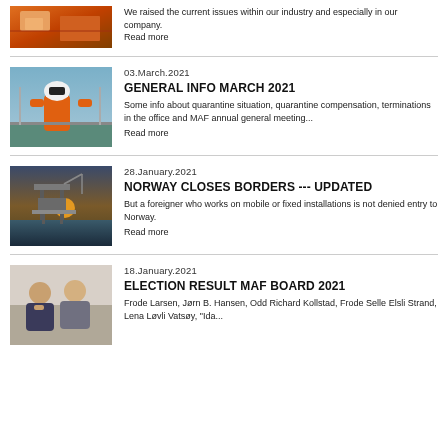[Figure (photo): Industrial/oil equipment scene, top-left, partial]
We raised the current issues within our industry and especially in our company.
Read more
[Figure (photo): Oil worker in orange suit and white helmet on offshore platform]
03.March.2021
GENERAL INFO MARCH 2021
Some info about quarantine situation, quarantine compensation, terminations in the office and MAF annual general meeting...
Read more
[Figure (photo): Oil rig at sunset over water]
28.January.2021
NORWAY CLOSES BORDERS --- UPDATED
But a foreigner who works on mobile or fixed installations is not denied entry to Norway.
Read more
[Figure (photo): Two people sitting, appearing concerned]
18.January.2021
ELECTION RESULT MAF BOARD 2021
Frode Larsen, Jørn B. Hansen, Odd Richard Kollstad, Frode Selle Elsli Strand, Lena Løvli Vatsøy, "Ida...